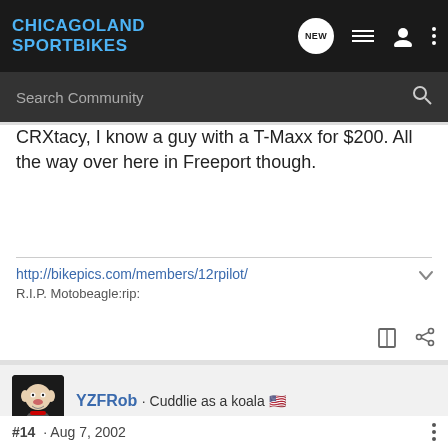CHICAGOLAND SPORTBIKES
Search Community
CRXtacy, I know a guy with a T-Maxx for $200. All the way over here in Freeport though.
http://bikepics.com/members/12rpilot/
R.I.P. Motobeagle:rip:
YZFRob · Cuddlie as a koala 🇺🇸
Joined Apr 8, 2002 · 7,520 Posts
#14 · Aug 7, 2002